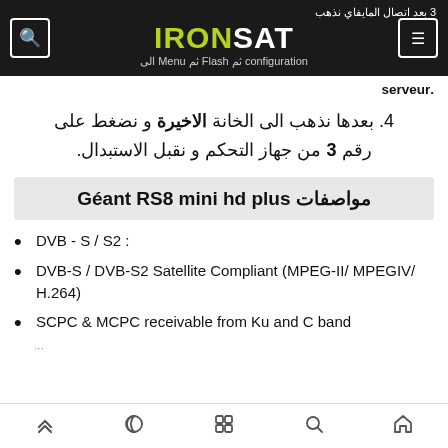IRONSAT — 3 بعد اتصال المايفاي نذهب الى configuration ثم Flash ثم Menu الى serveur.
4. بعدها نذهب الى الخانة الاخيرة و نضغط على رقم 3 من جهاز التحكم و نقبل الاستبدال.
مواصفات Géant RS8 mini hd plus
DVB - S / S2 :
DVB-S / DVB-S2 Satellite Compliant (MPEG-II/ MPEGIV/ H.264)
SCPC & MCPC receivable from Ku and C band
Navigation icons: up, moon, grid, search, home